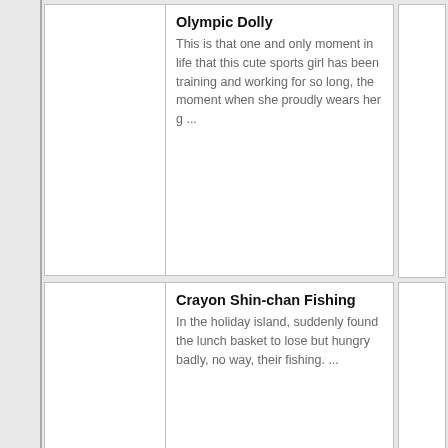Olympic Dolly — This is that one and only moment in life that this cute sports girl has been training and working for so long, the moment when she proudly wears her g ...
Crayon Shin-chan Fishing — In the holiday island, suddenly found the lunch basket to lose but hungry badly, no way, their fishing. ...
Pigs Will Fly — I bet you've heard that expression a lot. Lets make some unexpected things happen by making some chubby pigs fly. Yes, pigs will really fly. At least ...
Help the Hero — You don't do it for the Glory. You definitely don't do it for the rewards. In fact I'm not sure WHY you do it. But the important thing is that you DO. ...